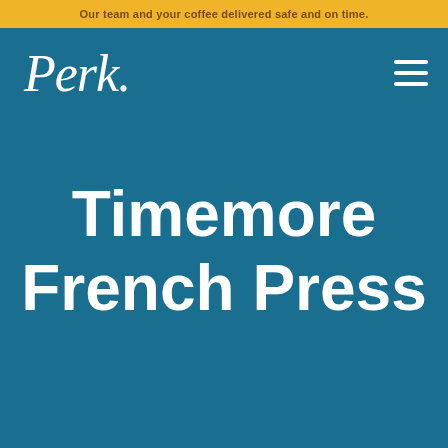Our team and your coffee delivered safe and on time.
[Figure (logo): Perk. logo in white cursive script on blue background]
Timemore French Press